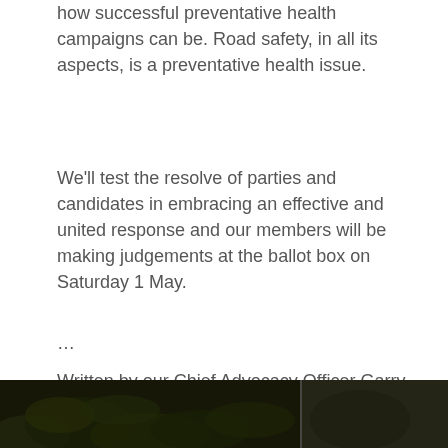how successful preventative health campaigns can be. Road safety, in all its aspects, is a preventative health issue.
We'll test the resolve of parties and candidates in embracing an effective and united response and our members will be making judgements at the ballot box on Saturday 1 May.
…
Written by our Chief Advocacy Officer Garry Bailey.
[Figure (photo): Dark outdoor photograph showing foliage/greenery with a vertical divider line, blurred dark background]